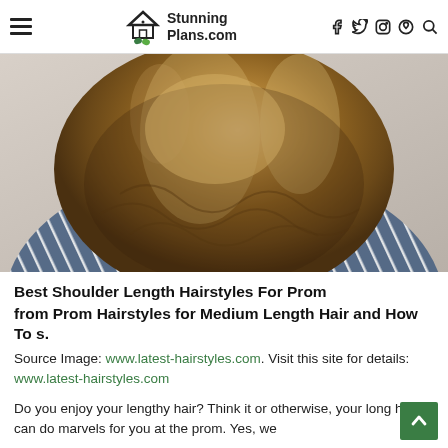StunningPlans.com
[Figure (photo): Back view of a person with medium-length wavy brown hair with highlights, wearing a blue and white striped shirt.]
Best Shoulder Length Hairstyles For Prom
from Prom Hairstyles for Medium Length Hair and How To s.
Source Image: www.latest-hairstyles.com. Visit this site for details: www.latest-hairstyles.com
Do you enjoy your lengthy hair? Think it or otherwise, your long hair can do marvels for you at the prom. Yes, we